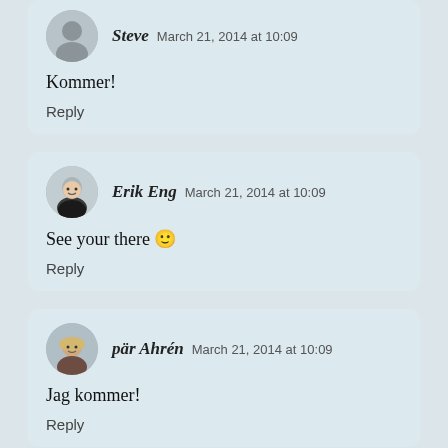Steve  March 21, 2014 at 10:09
Kommer!
Reply
Erik Eng  March 21, 2014 at 10:09
See your there 🙂
Reply
pär Ahrén  March 21, 2014 at 10:09
Jag kommer!
Reply